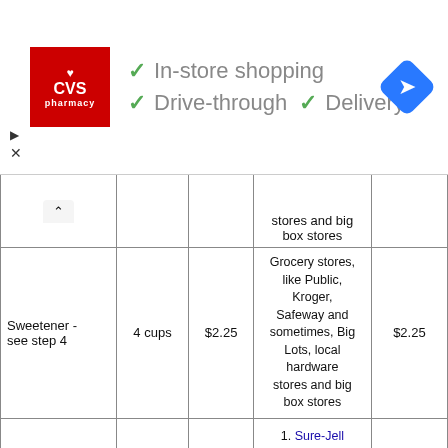[Figure (screenshot): CVS Pharmacy advertisement banner showing logo with checkmarks for In-store shopping, Drive-through, and Delivery, with a navigation icon on the right.]
| Item | Quantity | Price | Where to Buy | Total |
| --- | --- | --- | --- | --- |
|  |  |  | stores and big box stores |  |
| Sweetener - see step 4 | 4 cups | $2.25 | Grocery stores, like Public, Kroger, Safeway and sometimes, Big Lots, local hardware stores and big box stores | $2.25 |
|  |  |  | 1. Sure-Jell Premium Fruit Pectin, Light (No-sugar |  |